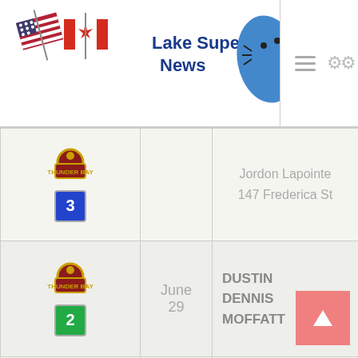Lake Superior News
| Icon | Date | Info | Name |
| --- | --- | --- | --- |
| [badge] 3 |  | Jordon Lapointe 147 Frederica St |  |
| [badge] 2 | June 29 |  | DUSTIN DENNIS MOFFATT |
| [badge] 1 | May 10 | Liam Slipperjack. |  |